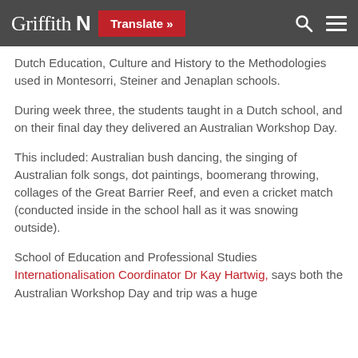Griffith N | Translate »
Dutch Education, Culture and History to the Methodologies used in Montesorri, Steiner and Jenaplan schools.
During week three, the students taught in a Dutch school, and on their final day they delivered an Australian Workshop Day.
This included: Australian bush dancing, the singing of Australian folk songs, dot paintings, boomerang throwing, collages of the Great Barrier Reef, and even a cricket match (conducted inside in the school hall as it was snowing outside).
School of Education and Professional Studies Internationalisation Coordinator Dr Kay Hartwig, says both the Australian Workshop Day and trip was a huge